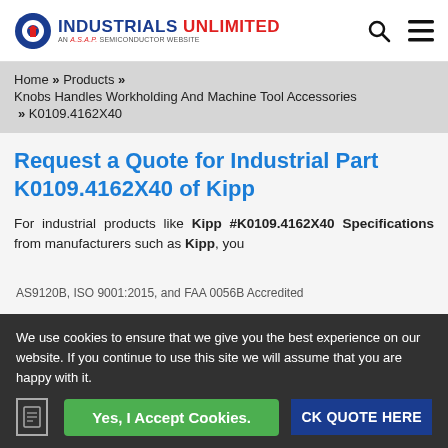[Figure (logo): Industrials Unlimited logo with gear icon and tagline 'AN A.S.A.P. SEMICONDUCTOR WEBSITE']
Home » Products » Knobs Handles Workholding And Machine Tool Accessories » K0109.4162X40
Request a Quote for Industrial Part K0109.4162X40 of Kipp
For industrial products like Kipp #K0109.4162X40 Specifications from manufacturers such as Kipp, you
We use cookies to ensure that we give you the best experience on our website. If you continue to use this site we will assume that you are happy with it.
Yes, I Accept Cookies.
AS9120B, ISO 9001:2015, and FAA 0056B Accredited
CK QUOTE HERE